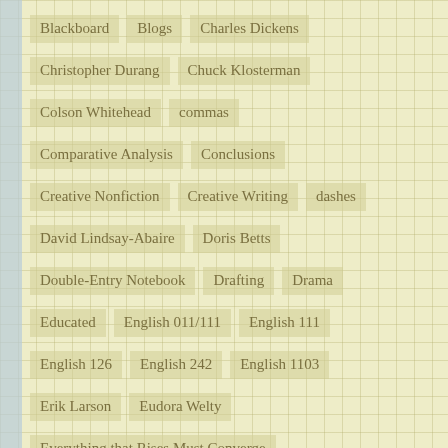Blackboard   Blogs   Charles Dickens
Christopher Durang   Chuck Klosterman
Colson Whitehead   commas
Comparative Analysis   Conclusions
Creative Nonfiction   Creative Writing   dashes
David Lindsay-Abaire   Doris Betts
Double-Entry Notebook   Drafting   Drama
Educated   English 011/111   English 111
English 126   English 242   English 1103
Erik Larson   Eudora Welty
Everything that Rises Must Converge
First Person   Flannery O'Connor   Frankenstein